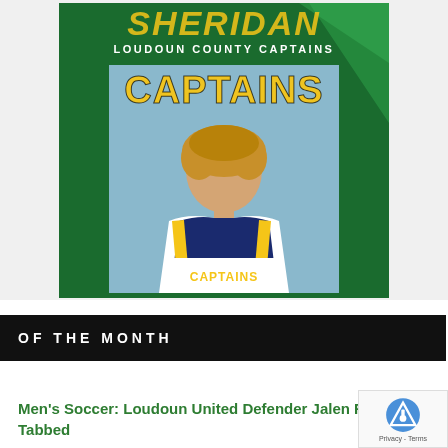[Figure (photo): A young woman wearing a navy and gold Captains jersey smiling at the camera, with a green banner background showing 'SHERIDAN LOUDOUN COUNTY CAPTAINS' at the top and large gold 'CAPTAINS' text behind her]
OF THE MONTH
Men's Soccer: Loudoun United Defender Jalen Robinson Tabbed